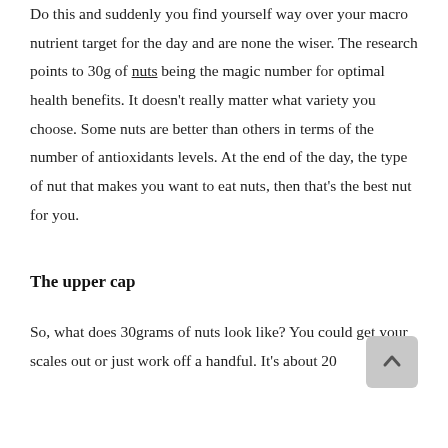Do this and suddenly you find yourself way over your macro nutrient target for the day and are none the wiser. The research points to 30g of nuts being the magic number for optimal health benefits. It doesn't really matter what variety you choose. Some nuts are better than others in terms of the number of antioxidants levels. At the end of the day, the type of nut that makes you want to eat nuts, then that's the best nut for you.
The upper cap
So, what does 30grams of nuts look like? You could get your scales out or just work off a handful. It's about 20